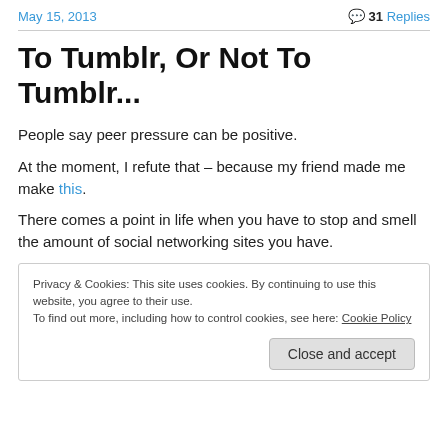May 15, 2013 | 31 Replies
To Tumblr, Or Not To Tumblr...
People say peer pressure can be positive.
At the moment, I refute that – because my friend made me make this.
There comes a point in life when you have to stop and smell the amount of social networking sites you have.
Privacy & Cookies: This site uses cookies. By continuing to use this website, you agree to their use. To find out more, including how to control cookies, see here: Cookie Policy